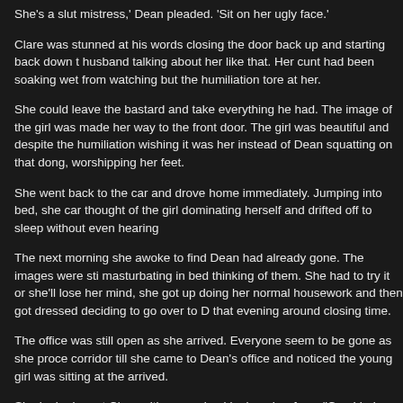She's a slut mistress,' Dean pleaded. 'Sit on her ugly face.'
Clare was stunned at his words closing the door back up and starting back down t husband talking about her like that. Her cunt had been soaking wet from watching but the humiliation tore at her.
She could leave the bastard and take everything he had. The image of the girl was made her way to the front door. The girl was beautiful and despite the humiliation wishing it was her instead of Dean squatting on that dong, worshipping her feet.
She went back to the car and drove home immediately. Jumping into bed, she car thought of the girl dominating herself and drifted off to sleep without even hearing
The next morning she awoke to find Dean had already gone. The images were sti masturbating in bed thinking of them. She had to try it or she'll lose her mind, she got up doing her normal housework and then got dressed deciding to go over to D that evening around closing time.
The office was still open as she arrived. Everyone seem to be gone as she proce corridor till she came to Dean's office and noticed the young girl was sitting at the arrived.
She looked up at Clare with a surprised look on her face. "Can I help you," she as
The beauty of the girl and seeing her up close for the first time stunned Clare. It to gather herself.
"I'm Clare and I'm here to see my husband," she said regaining her voice and cou